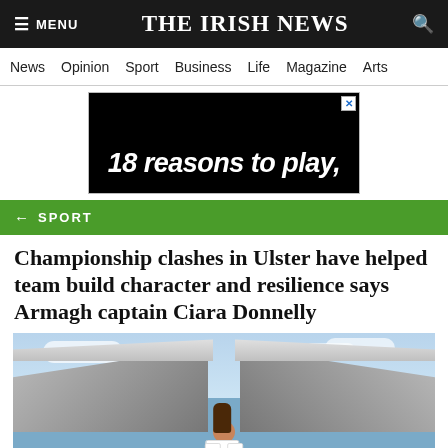THE IRISH NEWS
News  Opinion  Sport  Business  Life  Magazine  Arts
[Figure (other): Advertisement banner: black background with text '18 reasons to play,' in white stylized font]
← SPORT
Championship clashes in Ulster have helped team build character and resilience says Armagh captain Ciara Donnelly
[Figure (photo): Photo of Armagh captain Ciara Donnelly standing on a GAA pitch inside a large stadium, wearing an orange and white Armagh jersey. The stadium stands and roof structures are visible in the background under a cloudy sky.]